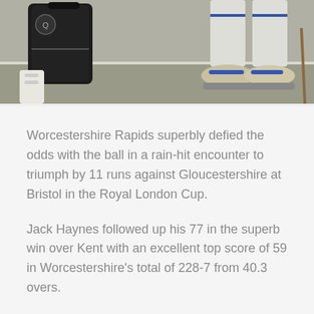[Figure (photo): Cricket scene showing a cricket bag on the left and a player's feet/shoes on the right, standing on a cricket ground]
Worcestershire Rapids superbly defied the odds with the ball in a rain-hit encounter to triumph by 11 runs against Gloucestershire at Bristol in the Royal London Cup.
Jack Haynes followed up his 77 in the superb win over Kent with an excellent top score of 59 in Worcestershire's total of 228-7 from 40.3 overs.
Jake Libby, Josh Dell and Gareth Roderick also made valuable contributions, and there was a late flourish from Club Captain Joe Leach and Josh Baker in helping to post a competitive total.